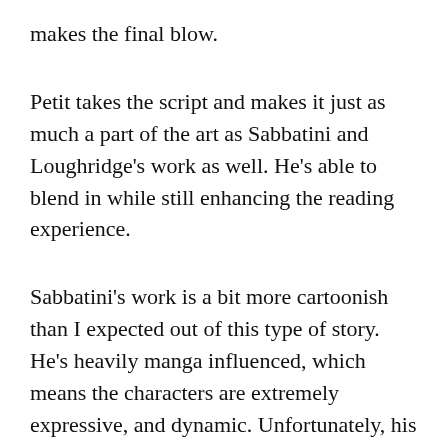makes the final blow.
Petit takes the script and makes it just as much a part of the art as Sabbatini and Loughridge's work as well. He's able to blend in while still enhancing the reading experience.
Sabbatini's work is a bit more cartoonish than I expected out of this type of story. He's heavily manga influenced, which means the characters are extremely expressive, and dynamic. Unfortunately, his Marc Spector is way off model, which threw me in the few times he showed up unmasked. His style makes the violence stand out though, as it's a lot to take in with these expressive and cartoonish characters. Loughridge's colors sets the mood through the prison scenes, building up to the fight club scenes which changes the palette to create a feeling of